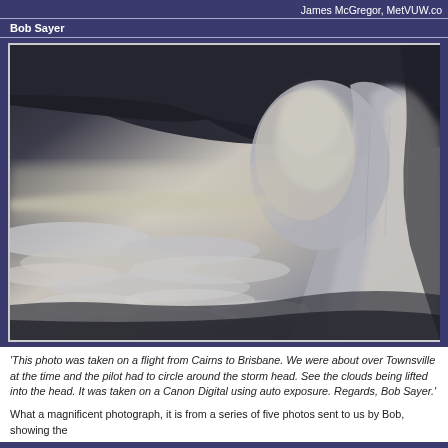James McGregor, MetVUW.co
Bob Sayer
[Figure (photo): Aerial photograph of a large cumulonimbus storm cell taken from an aircraft, showing the towering anvil cloud formation with dark storm top and layered clouds below, photographed over Townsville on a flight from Cairns to Brisbane.]
'This photo was taken on a flight from Cairns to Brisbane. We were about over Townsville at the time and the pilot had to circle around the storm head. See the clouds being lifted into the head. It was taken on a Canon Digital using auto exposure. Regards, Bob Sayer.'
What a magnificent photograph, it is from a series of five photos sent to us by Bob, showing the